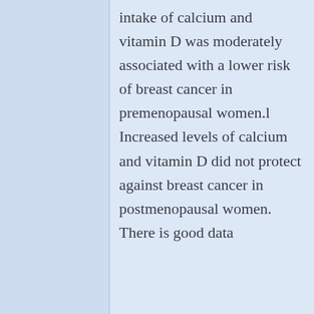intake of calcium and vitamin D was moderately associated with a lower risk of breast cancer in premenopausal women.l Increased levels of calcium and vitamin D did not protect against breast cancer in postmenopausal women. There is good data